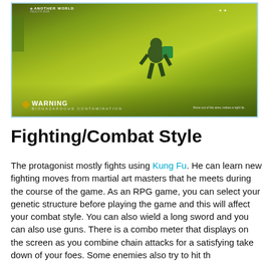[Figure (screenshot): Game screenshot showing a character in a green-tinted environment with a WARNING BIOHAZARDOUS CONTAMINATION HUD overlay and 'ANOTHER WORLD' text at top]
Fighting/Combat Style
The protagonist mostly fights using Kung Fu. He can learn new fighting moves from martial art masters that he meets during the course of the game. As an RPG game, you can select your genetic structure before playing the game and this will affect your combat style. You can also wield a long sword and you can also use guns. There is a combo meter that displays on the screen as you combine chain attacks for a satisfying take down of your foes. Some enemies also try to hit the